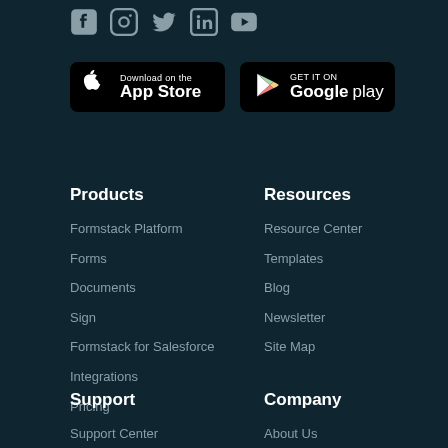[Figure (other): Social media icons: Facebook, Instagram, Twitter, LinkedIn, YouTube]
[Figure (other): Download on the App Store button (black)]
[Figure (other): GET IT ON Google play button (black)]
Products
Formstack Platform
Forms
Documents
Sign
Formstack for Salesforce
Integrations
Pricing
Resources
Resource Center
Templates
Blog
Newsletter
Site Map
Support
Support Center
Company
About Us